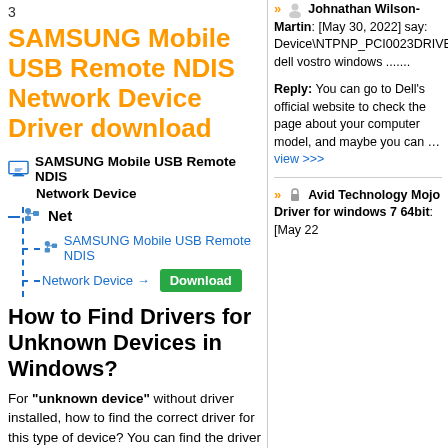3
SAMSUNG Mobile USB Remote NDIS Network Device Driver download
[Figure (schematic): Device tree diagram showing SAMSUNG Mobile USB Remote NDIS Network Device with monitor icon, Net node, and SAMSUNG Mobile USB Remote NDIS Network Device link with Download button]
How to Find Drivers for Unknown Devices in Windows?
For "unknown device" without driver installed, how to find the correct driver for this type of device? You can find the driver as follows. This is a simple and effective method. <Teach You How...
» Johnathan Wilson-Martin: [May 30, 2022] say: Device\NTPNP_PCI0023DRIVERDevice\NTPNP_PCI0024DRIVERDevice\NTPNP_PCI0025DRIVERMy dell vostro windows .......
Reply: You can go to Dell's official website to check the page about your computer model, and maybe you can …view >>>
» Avid Technology Mojo Driver for windows 7 64bit: [May 22...